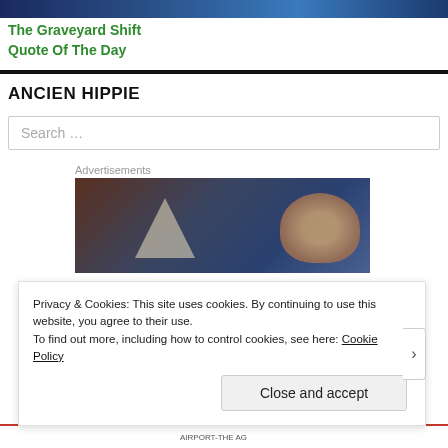[Figure (photo): Dark blue/purple gradient header banner image of a website]
The Graveyard Shift
Quote Of The Day
ANCIEN HIPPIE
Search ...
Advertisements
[Figure (photo): Advertisement image showing a person and decorative elements in dark tones]
Privacy & Cookies: This site uses cookies. By continuing to use this website, you agree to their use.
To find out more, including how to control cookies, see here: Cookie Policy
Close and accept